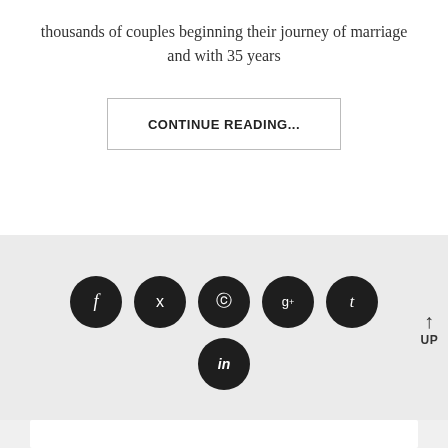thousands of couples beginning their journey of marriage and with 35 years
CONTINUE READING...
[Figure (infographic): Social media share buttons: Facebook (f), Twitter (bird), Pinterest (p), Google+ (g+), Tumblr (t), LinkedIn (in), arranged in two rows. Plus an UP arrow button on the right.]